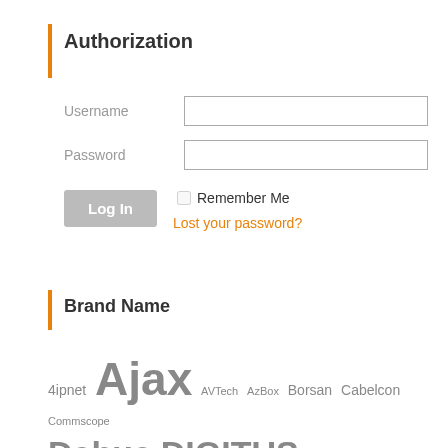Authorization
Username
Password
Log In
Remember Me
Lost your password?
Brand Name
4ipnet Ajax AVTech AzBox Borsan Cabelcon Commscope Dahua DIGITUS Professional Edge-Core EverFocus FITEL FORO GeoVision HMWL ilsintech IPCom KLM Kramer Matrix NumberOK RCI Realtime Samsung SD3 Star Track Telkom Telmor TOA U-Prox Uniview UTERO WIGI